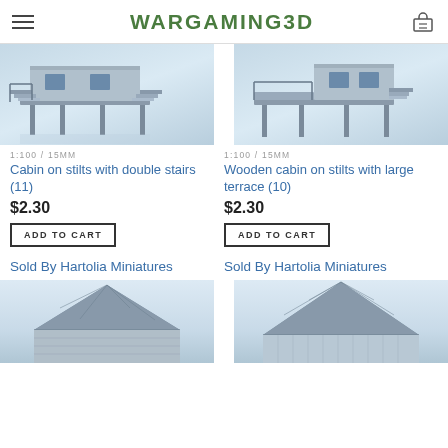WARGAMING3D
[Figure (photo): 3D render of a cabin on stilts with double stairs, blue-grey tones, reflective floor]
[Figure (photo): 3D render of a wooden cabin on stilts with large terrace, blue-grey tones]
1:100 / 15MM
Cabin on stilts with double stairs (11)
$2.30
ADD TO CART
Sold By Hartolia Miniatures
1:100 / 15MM
Wooden cabin on stilts with large terrace (10)
$2.30
ADD TO CART
Sold By Hartolia Miniatures
[Figure (photo): 3D render of a building rooftop, blue-grey tones, partially visible]
[Figure (photo): 3D render of a building with steep roof, blue-grey tones, partially visible]